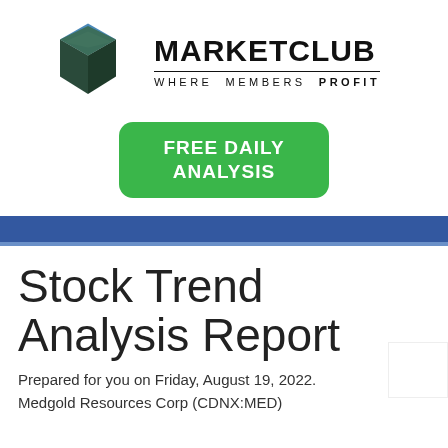[Figure (logo): MarketClub logo — geometric dark teal cube with blue diamond shape on top, followed by MARKETCLUB text and tagline WHERE MEMBERS PROFIT]
[Figure (other): Green rounded rectangle button with white bold text: FREE DAILY ANALYSIS]
Stock Trend Analysis Report
Prepared for you on Friday, August 19, 2022.
Medgold Resources Corp (CDNX:MED)